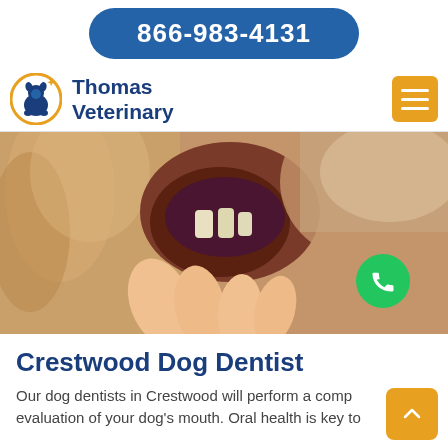866-983-4131
Thomas Veterinary
[Figure (photo): Close-up photo of a dog's mouth being held open by a human hand, showing teeth and gums, with a green phone/call floating action button overlaid in the lower right area of the image.]
Crestwood Dog Dentist
Our dog dentists in Crestwood will perform a comp evaluation of your dog's mouth. Oral health is key to